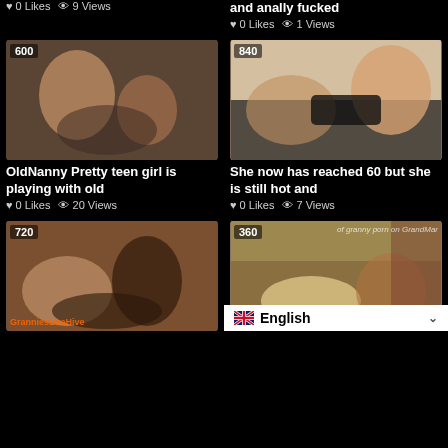0 Likes  9 Views
Granny is double fisted and anally fucked
0 Likes  1 Views
[Figure (photo): Video thumbnail with badge 600]
OldNanny Pretty teen girl is playing with old
0 Likes  20 Views
[Figure (photo): Video thumbnail with badge 840]
She now has reached 60 but she is still hot and
0 Likes  7 Views
[Figure (photo): Video thumbnail with badge 720, watermark GranniesBee...]
[Figure (photo): Video thumbnail with badge 360, overlay text of granny porn on GrandMar]
English